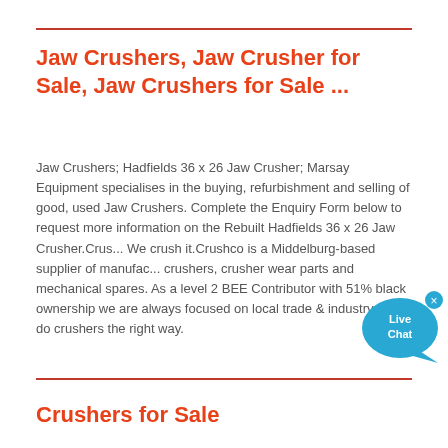Jaw Crushers, Jaw Crusher for Sale, Jaw Crushers for Sale ...
Jaw Crushers; Hadfields 36 x 26 Jaw Crusher; Marsay Equipment specialises in the buying, refurbishment and selling of good, used Jaw Crushers. Complete the Enquiry Form below to request more information on the Rebuilt Hadfields 36 x 26 Jaw Crusher.Crus... We crush it.Crushco is a Middelburg-based supplier of manufac... crushers, crusher wear parts and mechanical spares. As a level 2 BEE Contributor with 51% black ownership we are always focused on local trade & industry. We do crushers the right way.
[Figure (other): Live Chat widget bubble with chat icon and close button]
Crushers for Sale